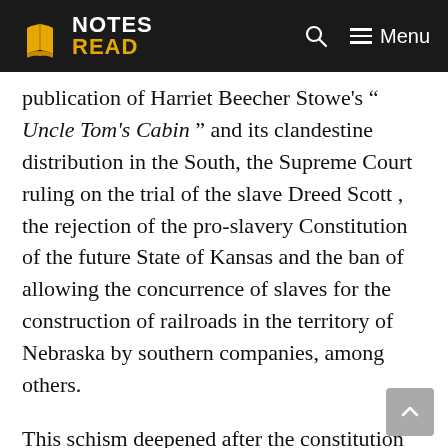NOTES READ
publication of Harriet Beecher Stowe's " Uncle Tom's Cabin " and its clandestine distribution in the South, the Supreme Court ruling on the trial of the slave Dreed Scott , the rejection of the pro-slavery Constitution of the future State of Kansas and the ban of allowing the concurrence of slaves for the construction of railroads in the territory of Nebraska by southern companies, among others.
This schism deepened after the constitution the new Republican Party, which was made up of dissident Conservatives and Democrats from the North and South, mainly on issues